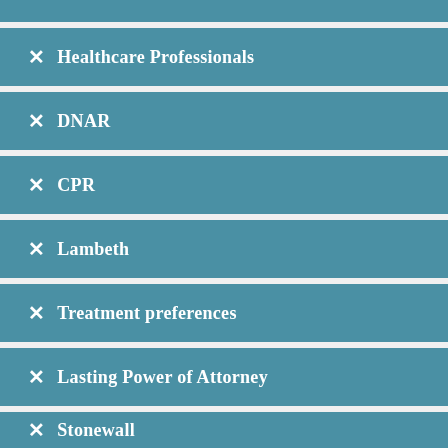Healthcare Professionals
DNAR
CPR
Lambeth
Treatment preferences
Lasting Power of Attorney
Stonewall